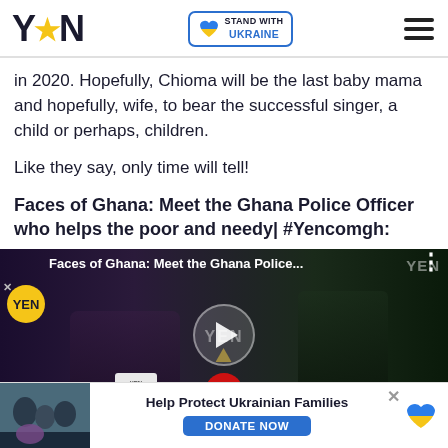YEN | STAND WITH UKRAINE
in 2020. Hopefully, Chioma will be the last baby mama and hopefully, wife, to bear the successful singer, a child or perhaps, children.
Like they say, only time will tell!
Faces of Ghana: Meet the Ghana Police Officer who helps the poor and needy| #Yencomgh:
[Figure (screenshot): Video thumbnail showing a YEN.com.gh video titled 'Faces of Ghana: Meet the Ghana Police...' with a play button overlay, showing a woman being interviewed with a microphone in a dark outdoor setting]
[Figure (infographic): Ad banner: Help Protect Ukrainian Families with DONATE NOW button and Ukraine flag heart icon, with a photo of people in winter clothing on the left]